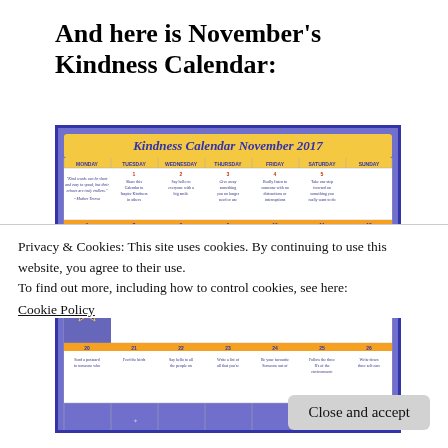And here is November's Kindness Calendar:
[Figure (other): A Kindness Calendar for November 2017 with a purple/blue background with stars, showing daily kindness activities for each day of the month in a weekly grid (Monday through Sunday columns). The calendar header is gold/yellow with the title in italic blue text. Each day cell contains a suggested kindness activity in small blue text.]
Privacy & Cookies: This site uses cookies. By continuing to use this website, you agree to their use.
To find out more, including how to control cookies, see here:
Cookie Policy
Close and accept